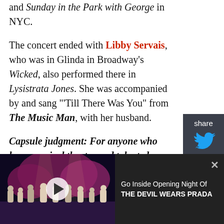and Sunday in the Park with George in NYC.
The concert ended with Libby Servais, who was in Glinda in Broadway's Wicked, also performed there in Lysistrata Jones. She was accompanied by and sang "'Till There Was You" from The Music Man, with her husband.
Capsule judgment: For anyone who loves musical theatre and talented Broadway performers, Beck's stream is a total must see! For free tickets to this engagement, which runs March 5 to March 28, 2021, go to ShowTix4U.com. Also consider making a contribution to keep Beck as a thank you for the
[Figure (screenshot): Video player thumbnail showing a stage performance scene with performers on stage, trees and purple/blue lighting backdrop. Share sidebar with Twitter and Facebook icons on the right. Video overlay at bottom showing 'Go Inside Opening Night Of THE DEVIL WEARS PRADA' with close button.]